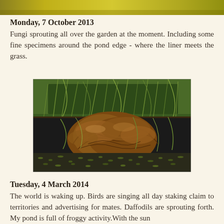[Figure (photo): Partial photo of garden/nature subject cropped at top of page - yellow-green tones visible]
Monday, 7 October 2013
Fungi sprouting all over the garden at the moment. Including some fine specimens around the pond edge - where the liner meets the grass.
[Figure (photo): Photograph of large brown fungi/mushrooms growing at the pond edge, surrounded by long grass and pond plants. The pond surface shows duckweed.]
Tuesday, 4 March 2014
The world is waking up. Birds are singing all day staking claim to territories and advertising for mates. Daffodils are sprouting forth. My pond is full of froggy activity.With the sun